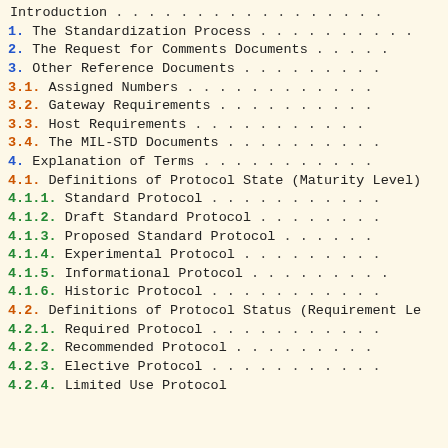Introduction . . . . . . . . . . . . . . . .
1.  The Standardization Process . . . . . . . .
2.  The Request for Comments Documents . . . . .
3.  Other Reference Documents . . . . . . . . .
3.1.  Assigned Numbers . . . . . . . . . . . .
3.2.  Gateway Requirements . . . . . . . . . .
3.3.  Host Requirements . . . . . . . . . . . .
3.4.  The MIL-STD Documents . . . . . . . . . .
4.  Explanation of Terms . . . . . . . . . . .
4.1.  Definitions of Protocol State (Maturity Level)
4.1.1.  Standard Protocol . . . . . . . . . . .
4.1.2.  Draft Standard Protocol . . . . . . . .
4.1.3.  Proposed Standard Protocol . . . . . . .
4.1.4.  Experimental Protocol . . . . . . . . .
4.1.5.  Informational Protocol . . . . . . . . .
4.1.6.  Historic Protocol . . . . . . . . . . .
4.2.  Definitions of Protocol Status (Requirement Le
4.2.1.  Required Protocol . . . . . . . . . . .
4.2.2.  Recommended Protocol . . . . . . . . . .
4.2.3.  Elective Protocol . . . . . . . . . . .
4.2.4.  Limited Use Protocol